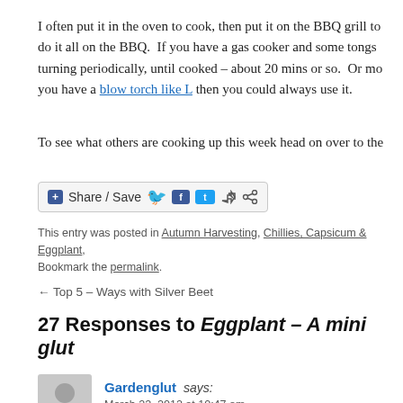I often put it in the oven to cook, then put it on the BBQ grill to do it all on the BBQ. If you have a gas cooker and some tongs turning periodically, until cooked – about 20 mins or so. Or more you have a blow torch like L then you could always use it.
To see what others are cooking up this week head on over to the
[Figure (other): Share / Save social sharing button bar with Facebook and Twitter icons]
This entry was posted in Autumn Harvesting, Chillies, Capsicum & Eggplant, Bookmark the permalink.
← Top 5 – Ways with Silver Beet
27 Responses to Eggplant – A mini glut
Gardenglut says: March 22, 2012 at 10:47 am